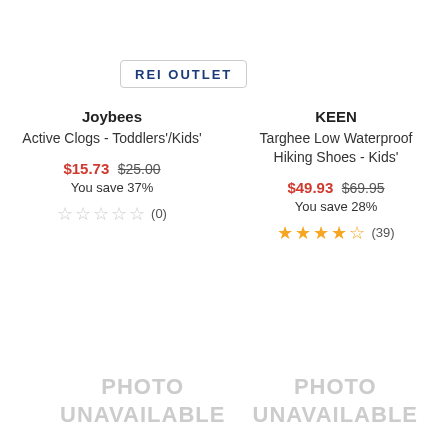[Figure (logo): REI OUTLET logo in a rounded rectangle border]
Joybees
Active Clogs - Toddlers'/Kids'
$15.73 $25.00
You save 37%
☆☆☆☆☆ (0)
KEEN
Targhee Low Waterproof Hiking Shoes - Kids'
$49.93 $69.95
You save 28%
★★★★½ (39)
[Figure (photo): PHOTO UNAVAILABLE placeholder left]
[Figure (photo): PHOTO UNAVAILABLE placeholder right]